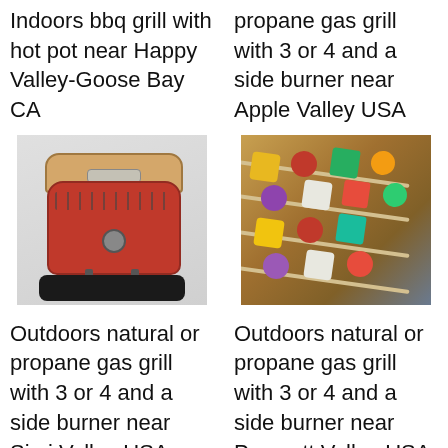Indoors bbq grill with hot pot near Happy Valley-Goose Bay CA
propane gas grill with 3 or 4 and a side burner near Apple Valley USA
[Figure (photo): Red indoor BBQ grill with wooden lid and black base tray]
[Figure (photo): Colorful vegetable and meat skewers/kebabs on a wooden board]
Outdoors natural or propane gas grill with 3 or 4 and a side burner near Simi Valley USA
Outdoors natural or propane gas grill with 3 or 4 and a side burner near Prescott Valley USA